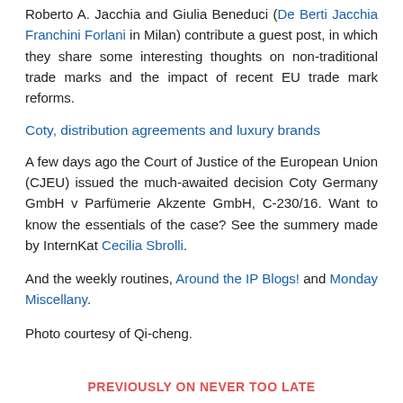Roberto A. Jacchia and Giulia Beneduci (De Berti Jacchia Franchini Forlani in Milan) contribute a guest post, in which they share some interesting thoughts on non-traditional trade marks and the impact of recent EU trade mark reforms.
Coty, distribution agreements and luxury brands
A few days ago the Court of Justice of the European Union (CJEU) issued the much-awaited decision Coty Germany GmbH v Parfümerie Akzente GmbH, C-230/16. Want to know the essentials of the case? See the summery made by InternKat Cecilia Sbrolli.
And the weekly routines, Around the IP Blogs! and Monday Miscellany.
Photo courtesy of Qi-cheng.
PREVIOUSLY ON NEVER TOO LATE